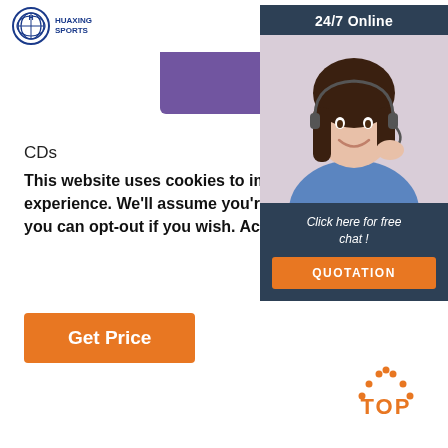[Figure (logo): Huaxing Sports logo with circular emblem and text]
[Figure (illustration): Purple product bar partially visible at top]
CDs
This website uses cookies to improve your experience. We'll assume you're ok with this, but you can opt-out if you wish. Accept Read
[Figure (other): Orange Get Price button]
[Figure (other): 24/7 Online customer service chat widget with photo of female agent wearing headset, 'Click here for free chat!' text and orange QUOTATION button]
[Figure (other): Orange TOP back-to-top button with dotted arch icon]